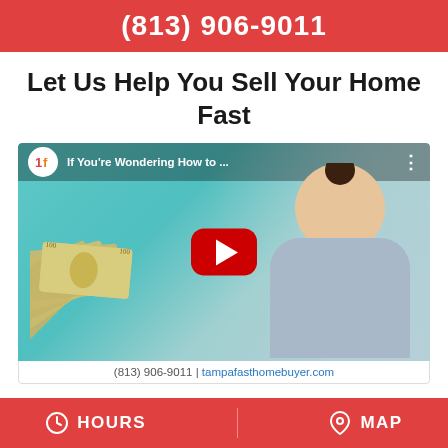(813) 906-9011
Let Us Help You Sell Your Home Fast
[Figure (screenshot): YouTube video thumbnail for Tampa Fast Home Buyer titled 'If You're Wondering How to ...' showing a woman holding cash with a red YouTube play button in the center]
(813) 906-9011 | tampafasthomebuyer.com
If you want an answer immediately about what you can get for your home, we are the
HOURS   MAP